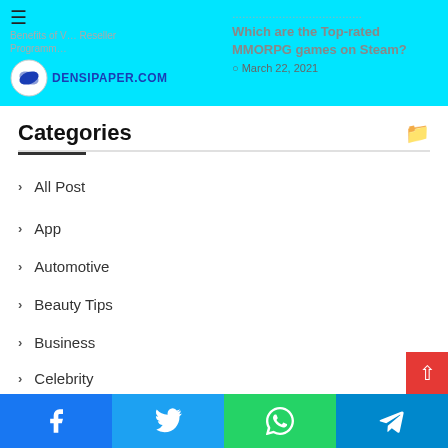densipaper.com — Which are the Top-rated MMORPG games on Steam? — March 22, 2021
Categories
All Post
App
Automotive
Beauty Tips
Business
Celebrity
Communication
Facebook | Twitter | WhatsApp | Telegram